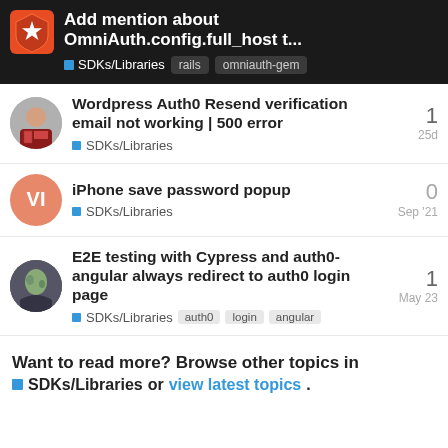Add mention about OmniAuth.config.full_host t... SDKs/Libraries rails omniauth-gem
Wordpress Auth0 Resend verification email not working | 500 error — SDKs/Libraries — 1 reply — 25d
iPhone save password popup — SDKs/Libraries — 0 replies — Sep '21
E2E testing with Cypress and auth0-angular always redirect to auth0 login page — SDKs/Libraries — auth0 login angular — 1 reply — May 23
Want to read more? Browse other topics in SDKs/Libraries or view latest topics.